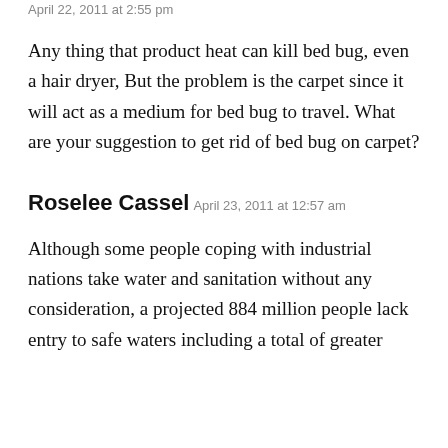April 22, 2011 at 2:55 pm
Any thing that product heat can kill bed bug, even a hair dryer, But the problem is the carpet since it will act as a medium for bed bug to travel. What are your suggestion to get rid of bed bug on carpet?
Roselee Cassel
April 23, 2011 at 12:57 am
Although some people coping with industrial nations take water and sanitation without any consideration, a projected 884 million people lack entry to safe waters including a total of greater